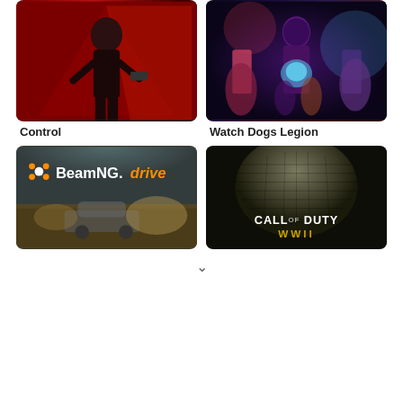[Figure (photo): Game cover art for Control - dark red background with character figure]
[Figure (photo): Game cover art for Watch Dogs Legion - neon purple/blue with character holding skull]
Control
Watch Dogs Legion
[Figure (photo): Game cover art for BeamNG.drive - showing logo with orange italic text and blurred vehicle scene]
[Figure (photo): Game cover art for Call of Duty WWII - soldier helmet with game title text]
v